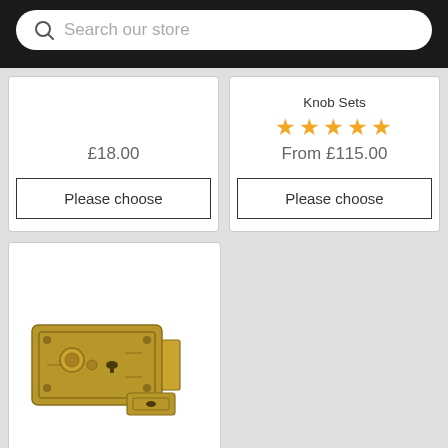Search our store
£18.00
Please choose
Knob Sets
★★★★★
From £115.00
Please choose
[Figure (photo): Ornate antique brass rim lock set with decorative casing and strike plate]
Ornate Antique Brass Rim